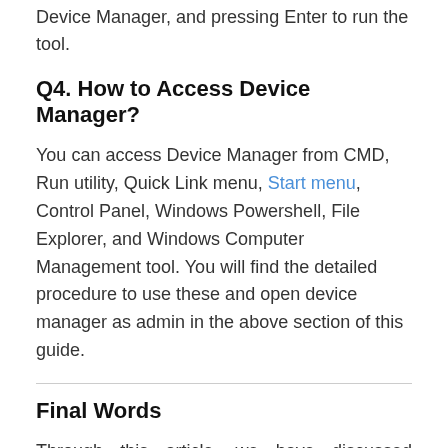Device Manager, and pressing Enter to run the tool.
Q4. How to Access Device Manager?
You can access Device Manager from CMD, Run utility, Quick Link menu, Start menu, Control Panel, Windows Powershell, File Explorer, and Windows Computer Management tool. You will find the detailed procedure to use these and open device manager as admin in the above section of this guide.
Final Words
Through this article, we have discussed various commonly-used ways to open Device Manager in Windows 10 as well as step by step instructions to upgrade your device drivers. Moreover, if you know some other useful methods to access Windows Device Manager, please let us know via the comments section provided below. Lastly, before you leave, subscribe to our